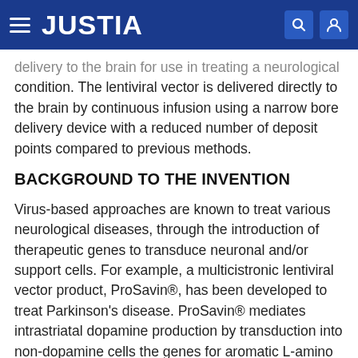JUSTIA
delivery to the brain for use in treating a neurological condition. The lentiviral vector is delivered directly to the brain by continuous infusion using a narrow bore delivery device with a reduced number of deposit points compared to previous methods.
BACKGROUND TO THE INVENTION
Virus-based approaches are known to treat various neurological diseases, through the introduction of therapeutic genes to transduce neuronal and/or support cells. For example, a multicistronic lentiviral vector product, ProSavin®, has been developed to treat Parkinson's disease. ProSavin® mediates intrastriatal dopamine production by transduction into non-dopamine cells the genes for aromatic L-amino acid decarboxylase, tyrosine hydroxylase, and GTP cyclohydrolase I(Azzouz et at (2002) J Neurosci. 22: